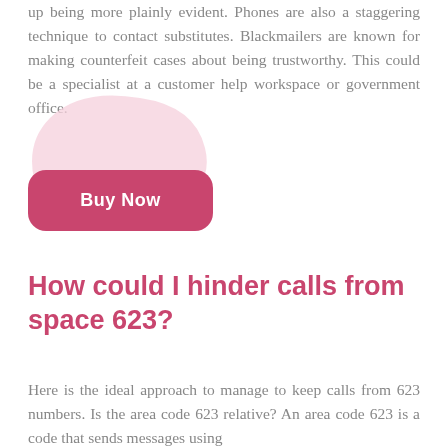up being more plainly evident. Phones are also a staggering technique to contact substitutes. Blackmailers are known for making counterfeit cases about being trustworthy. This could be a specialist at a customer help workspace or government office.
[Figure (illustration): Pink blob/cloud shape decorative graphic with a 'Buy Now' pink rounded-rectangle button below it]
How could I hinder calls from space 623?
Here is the ideal approach to manage to keep calls from 623 numbers. Is the area code 623 relative? An area code 623 is a code that sends messages using